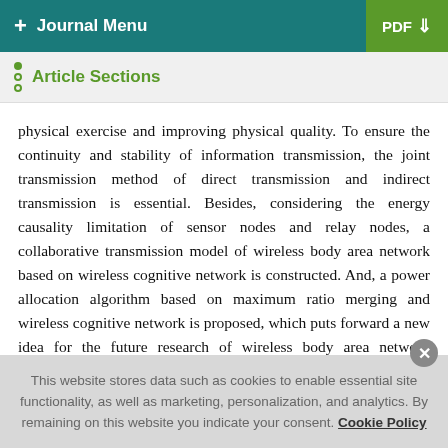+ Journal Menu  PDF ↓
Article Sections
physical exercise and improving physical quality. To ensure the continuity and stability of information transmission, the joint transmission method of direct transmission and indirect transmission is essential. Besides, considering the energy causality limitation of sensor nodes and relay nodes, a collaborative transmission model of wireless body area network based on wireless cognitive network is constructed. And, a power allocation algorithm based on maximum ratio merging and wireless cognitive network is proposed, which puts forward a new idea for the future research of wireless body area network resource allocation.
This website stores data such as cookies to enable essential site functionality, as well as marketing, personalization, and analytics. By remaining on this website you indicate your consent. Cookie Policy